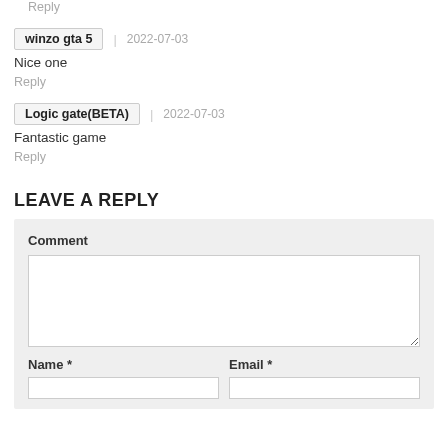Reply
winzo gta 5  |  2022-07-03
Nice one
Reply
Logic gate(BETA)  |  2022-07-03
Fantastic game
Reply
LEAVE A REPLY
Comment
Name *
Email *